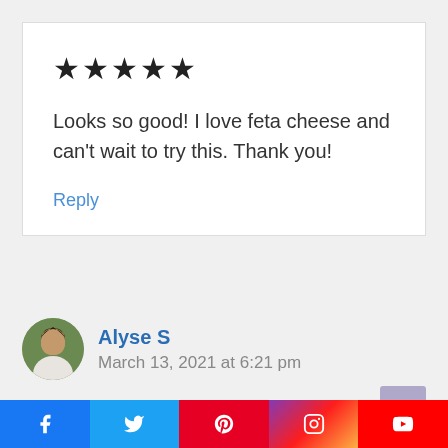★★★★★
Looks so good! I love feta cheese and can't wait to try this. Thank you!
Reply
Alyse S
March 13, 2021 at 6:21 pm
[Figure (illustration): Circular avatar photo of a woman with dark hair, outdoors background]
[Figure (infographic): Social media share bar with Facebook, Twitter, Pinterest, Instagram, YouTube icons]